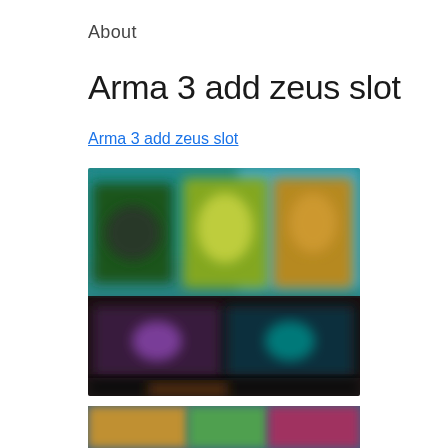About
Arma 3 add zeus slot
Arma 3 add zeus slot
[Figure (screenshot): Blurred screenshot of a gaming interface showing colorful game tiles/cards with characters, a teal/cyan background at the top section and darker bottom section with additional game thumbnails.]
[Figure (screenshot): Partial blurred screenshot visible at the bottom of the page, showing a colorful game-related image.]